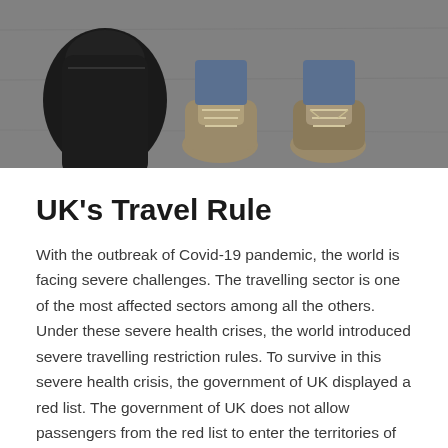[Figure (photo): Overhead photo of a person standing on asphalt/pavement with sneakers and a black backpack beside their feet]
UK's Travel Rule
With the outbreak of Covid-19 pandemic, the world is facing severe challenges. The travelling sector is one of the most affected sectors among all the others. Under these severe health crises, the world introduced severe travelling restriction rules. To survive in this severe health crisis, the government of UK displayed a red list. The government of UK does not allow passengers from the red list to enter the territories of UK. UK has the right to add or delete any country in the red list. The addition and deletion of red-list countries depends upon the current situation of Covid cases. It also depends upon the percentage of